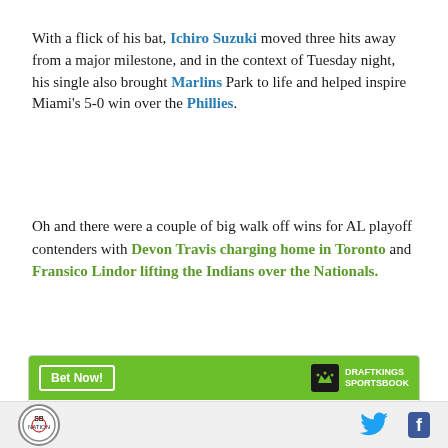With a flick of his bat, Ichiro Suzuki moved three hits away from a major milestone, and in the context of Tuesday night, his single also brought Marlins Park to life and helped inspire Miami's 5-0 win over the Phillies.
Oh and there were a couple of big walk off wins for AL playoff contenders with Devon Travis charging home in Toronto and Fransico Lindor lifting the Indians over the Nationals.
| Yordan Alvarez |  |
| --- | --- |
| To win AL MVP | +10000 |
SB Nation logo | Twitter icon | Facebook icon